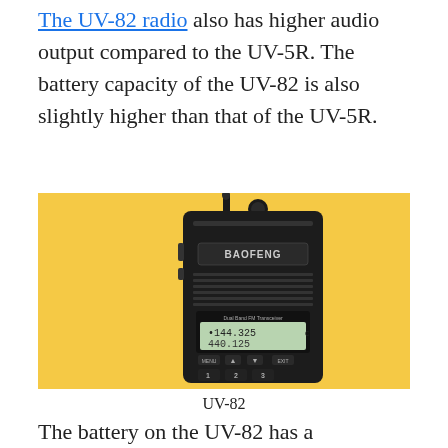The UV-82 radio also has higher audio output compared to the UV-5R. The battery capacity of the UV-82 is also slightly higher than that of the UV-5R.
[Figure (photo): A Baofeng UV-82 dual band FM transceiver handheld radio on a yellow background. The radio is black with a display showing frequencies 144.325 and 440.125.]
UV-82
The battery on the UV-82 has a